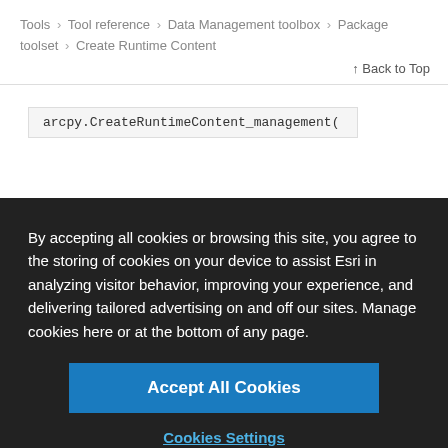Tools > Tool reference > Data Management toolbox > Package toolset > Create Runtime Content
↑ Back to Top
arcpy.CreateRuntimeContent_management(
By accepting all cookies or browsing this site, you agree to the storing of cookies on your device to assist Esri in analyzing visitor behavior, improving your experience, and delivering tailored advertising on and off our sites. Manage cookies here or at the bottom of any page.
Accept All Cookies
Cookies Settings